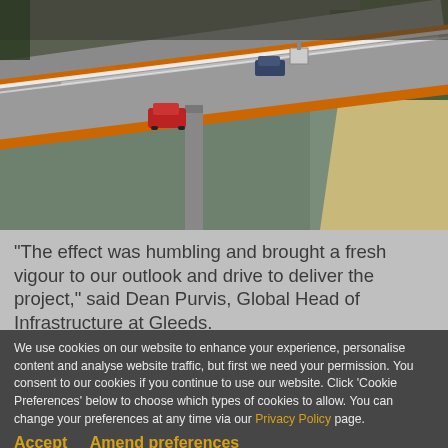[Figure (photo): Aerial view of a highway bridge over a river, with vehicles including a red car and a blue vehicle visible on the bridge lanes, river and sandy bank visible below, green trees in background.]
“The effect was humbling and brought a fresh vigour to our outlook and drive to deliver the project,” said Dean Purvis, Global Head of Infrastructure at Gleeds.
We use cookies on our website to enhance your experience, personalise content and analyse website traffic, but first we need your permission. You consent to our cookies if you continue to use our website. Click ‘Cookie Preferences’ below to choose which types of cookies to allow. You can change your preferences at any time via our Privacy Policy page.
Accept    Amend preferences